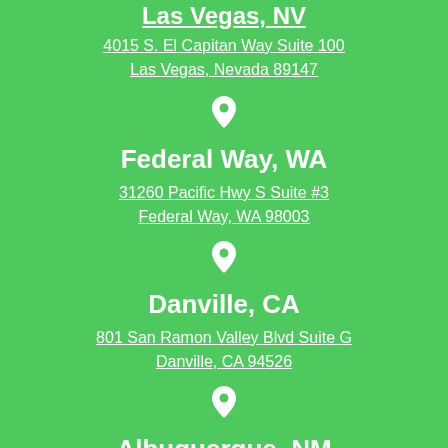Las Vegas, NV
4015 S. El Capitan Way Suite 100
Las Vegas, Nevada 89147
Federal Way, WA
31260 Pacific Hwy S Suite #3
Federal Way, WA 98003
Danville, CA
801 San Ramon Valley Blvd Suite G
Danville, CA 94526
Albuquerque, NM
4233 Montgomery Blvd NE #200